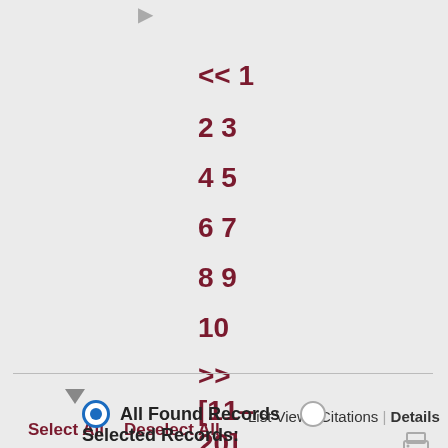▶
<< 1
2 3
4 5
6 7
8 9
10
>>
[11-20]
Select All   Deselect All
List View | Citations | Details
[Figure (other): Print icon]
[Figure (other): Down arrow triangle]
All Found Records
Selected Records: